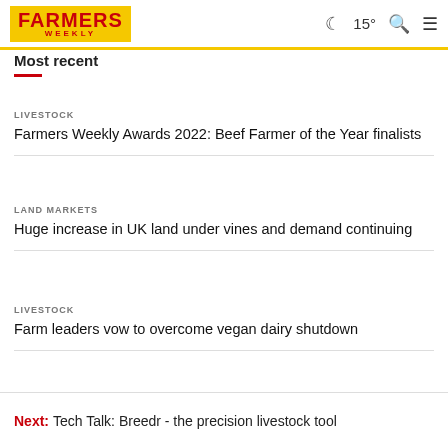FARMERS WEEKLY | 15° | Search | Menu
Most recent
LIVESTOCK
Farmers Weekly Awards 2022: Beef Farmer of the Year finalists
LAND MARKETS
Huge increase in UK land under vines and demand continuing
LIVESTOCK
Farm leaders vow to overcome vegan dairy shutdown
Next: Tech Talk: Breedr - the precision livestock tool